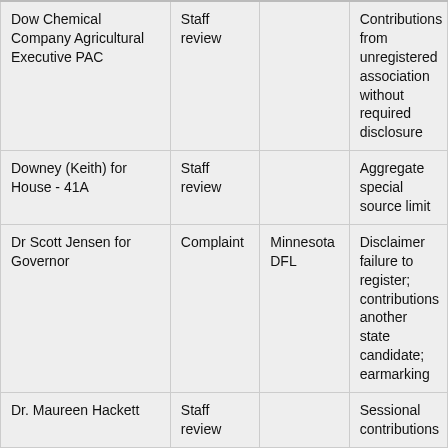|  |  |  |  |
| --- | --- | --- | --- |
| Dow Chemical Company Agricultural Executive PAC | Staff review |  | Contributions from unregistered association without required disclosure |
| Downey (Keith) for House - 41A | Staff review |  | Aggregate special source limit |
| Dr Scott Jensen for Governor | Complaint | Minnesota DFL | Disclaimer failure to register; contributions another state candidate; earmarking |
| Dr. Maureen Hackett | Staff review |  | Sessional contributions |
| Duff (Alan) 4 House | Complaint | Matt Stevens | Independent expenditure contribution limits; |